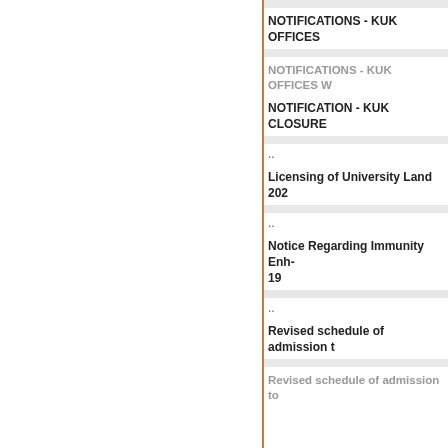NOTIFICATIONS - KUK OFFICES
NOTIFICATIONS - KUK OFFICES W
NOTIFICATION - KUK CLOSURE
..
Licensing of University Land 202
..
Notice Regarding Immunity Enh- 19
..
Revised schedule of admission t
Revised schedule of admission to